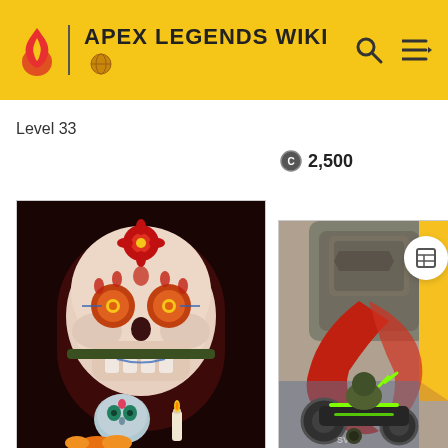APEX LEGENDS WIKI
Level 33
2,500
[Figure (illustration): Day of the Dead / sugar skull themed character illustration from Apex Legends, showing a large decorated skull with red flower on top, glowing eyes with flower patterns, and a smaller decorated skull below with candles and marigold flowers]
[Figure (illustration): Apex Legends character skin art showing a character on a motorcycle with green/neon accents, red flowing elements, and a large robotic or mechanical figure in the background]